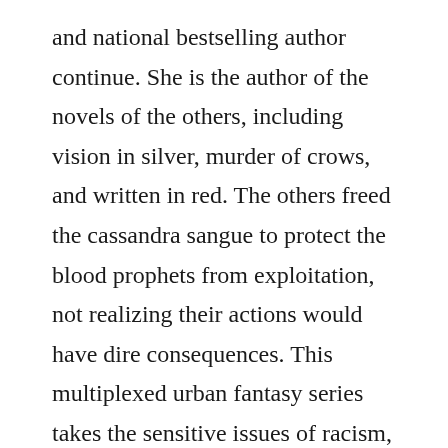and national bestselling author continue. She is the author of the novels of the others, including vision in silver, murder of crows, and written in red. The others freed the cassandra sangue to protect the blood prophets from exploitation, not realizing their actions would have dire consequences. This multiplexed urban fantasy series takes the sensitive issues of racism, discrimination, and abuse wrapped in the disguise of caring, wrapping them up inside a vibrantly magical world with a. Use features like bookmarks, note taking and highlighting while reading.